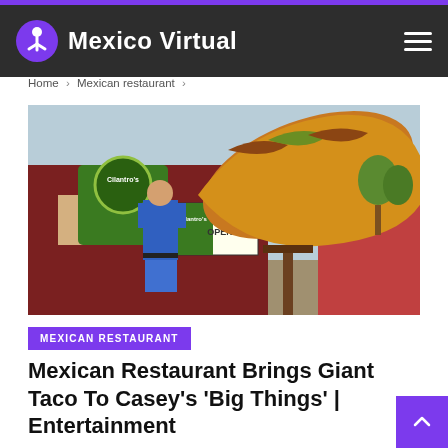Mexico Virtual
Home > Mexican restaurant >
[Figure (photo): Man in blue polo shirt standing next to a giant taco sculpture outside a restaurant with a 'NOW OPEN' sign and Cilantro's branding on a red building.]
MEXICAN RESTAURANT
Mexican Restaurant Brings Giant Taco To Casey's 'Big Things' | Entertainment